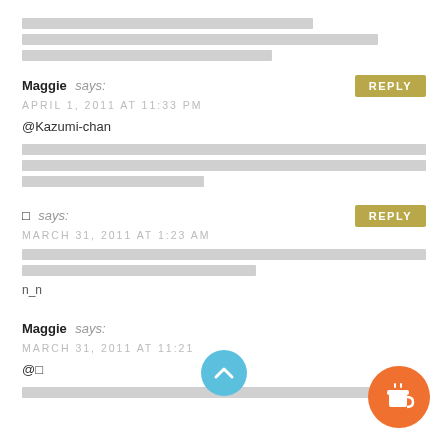[redacted text block - 3 lines]
Maggie says:
APRIL 1, 2011 AT 11:33 PM
@Kazumi-chan
[redacted paragraph]
[redacted line]
□ says:
MARCH 31, 2011 AT 1:23 AM
[redacted text lines ending in n_n]
Maggie says:
MARCH 31, 2011 AT 11:21...
@□
[redacted]